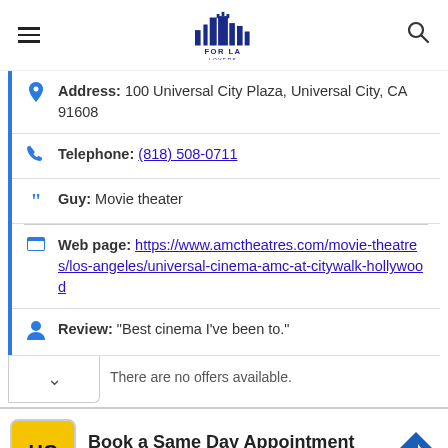FOR LA LOVERS
Address: 100 Universal City Plaza, Universal City, CA 91608
Telephone: (818) 508-0711
Guy: Movie theater
Web page: https://www.amctheatres.com/movie-theatres/los-angeles/universal-cinema-amc-at-citywalk-hollywood
Review: "Best cinema I've been to."
There are no offers available.
[Figure (infographic): Hair Cuttery advertisement: Book a Same Day Appointment, with HC logo and blue arrow icon]